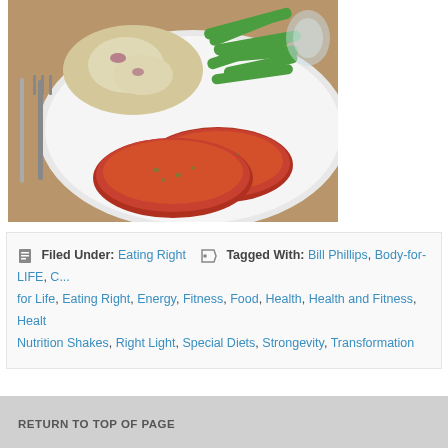[Figure (photo): A white plate with two slices of meatloaf covered in tomato sauce, mashed potatoes with red onion, and green beans, served on a wooden table with a fork and knife visible on the side and a glass in background.]
Filed Under: Eating Right   Tagged With: Bill Phillips, Body-for-LIFE, Cooking for Life, Eating Right, Energy, Fitness, Food, Health, Health and Fitness, Health, Nutrition Shakes, Right Light, Special Diets, Strongevity, Transformation
RETURN TO TOP OF PAGE